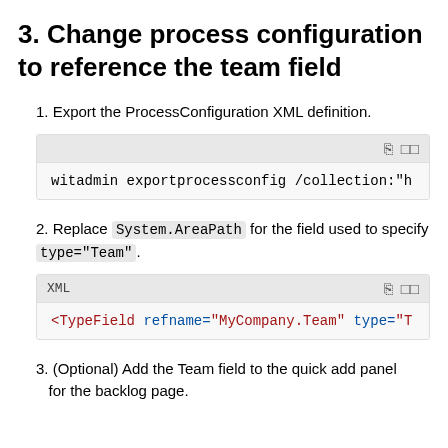3. Change process configuration to reference the team field
1. Export the ProcessConfiguration XML definition.
witadmin exportprocessconfig /collection:"h
2. Replace System.AreaPath for the field used to specify type="Team".
<TypeField refname="MyCompany.Team" type="T
3. (Optional) Add the Team field to the quick add panel for the backlog page.